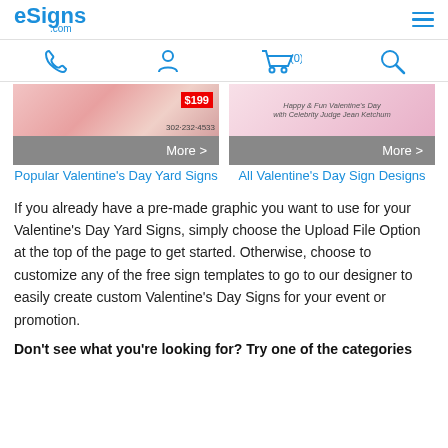eSigns.com
[Figure (screenshot): Navigation bar with phone, user account, shopping cart (0), and search icons]
[Figure (photo): Two product cards showing Valentine's Day Yard Signs images with More > buttons]
Popular Valentine's Day Yard Signs
All Valentine's Day Sign Designs
If you already have a pre-made graphic you want to use for your Valentine's Day Yard Signs, simply choose the Upload File Option at the top of the page to get started. Otherwise, choose to customize any of the free sign templates to go to our designer to easily create custom Valentine's Day Signs for your event or promotion.
Don't see what you're looking for? Try one of the categories